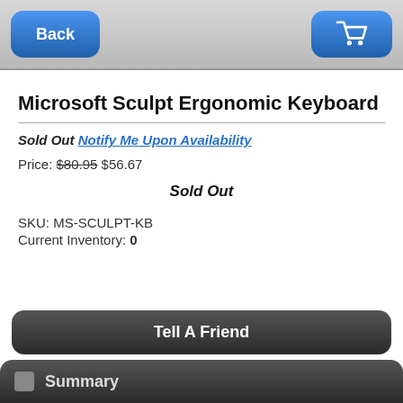Back | Cart
Microsoft Sculpt Ergonomic Keyboard
Sold Out  Notify Me Upon Availability
Price: $80.95 $56.67
Sold Out
SKU: MS-SCULPT-KB
Current Inventory: 0
Tell A Friend
Summary